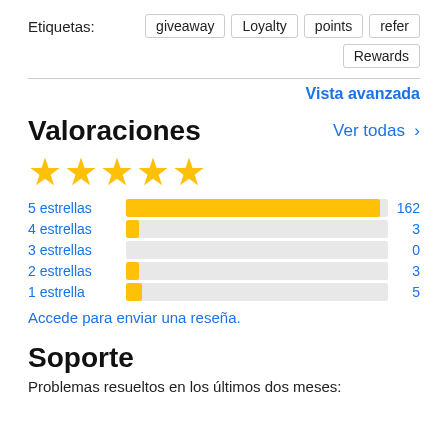Etiquetas:
giveaway
Loyalty
points
refer
Rewards
Vista avanzada
Valoraciones
Ver todas >
[Figure (bar-chart): Valoraciones]
Accede para enviar una reseña.
Soporte
Problemas resueltos en los últimos dos meses: